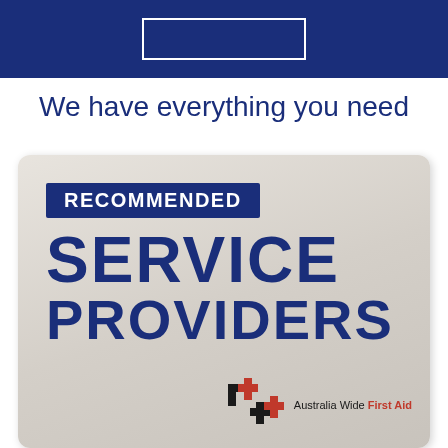[Figure (logo): Dark navy blue header bar with a white rectangular outline box inside]
We have everything you need
[Figure (illustration): Recommended Service Providers badge on a beige/grey gradient card background with Australia Wide First Aid logo at bottom right]